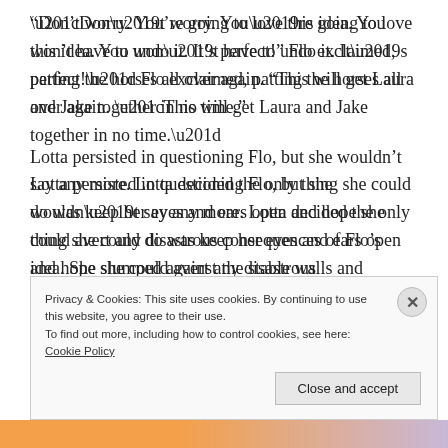“Don’t worry. You’re going to love this idea. You won’t have to undo it. It’s perfect!” Flo exclaimed, patting the horses all over again. “This will get Laura and Jake together in no time.”
Lotta persisted in questioning Flo, but she wouldn’t say any more. Lotta decided the only thing she could do was keep her eyes and ears open and hope she could avert any disastrous consequences of Flo’s idea. She slumped against the stable walls and wondered what the consequences were for a fairy godmother that quit!
Privacy & Cookies: This site uses cookies. By continuing to use this website, you agree to their use.
To find out more, including how to control cookies, see here: Cookie Policy
[Close and accept]